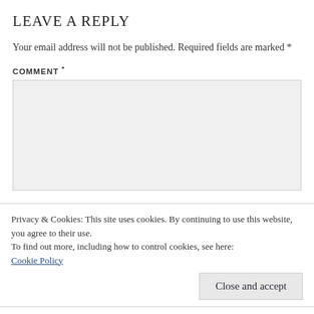LEAVE A REPLY
Your email address will not be published. Required fields are marked *
COMMENT *
Privacy & Cookies: This site uses cookies. By continuing to use this website, you agree to their use.
To find out more, including how to control cookies, see here:
Cookie Policy
Close and accept